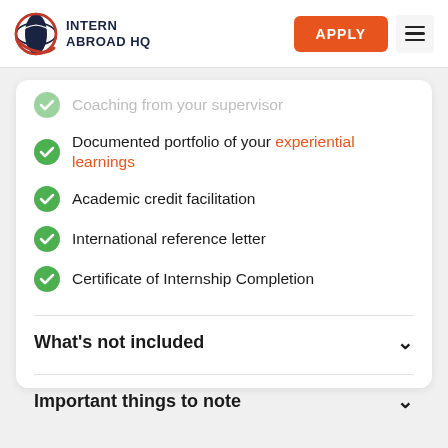INTERN ABROAD HQ
Coaching from your supervisor
Documented portfolio of your experiential learnings
Academic credit facilitation
International reference letter
Certificate of Internship Completion
What's not included
Important things to note